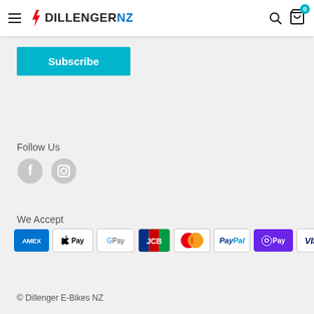DILLENGER NZ
Subscribe
Follow Us
[Figure (illustration): Social media icons: Facebook circle and Instagram circle]
We Accept
[Figure (illustration): Payment method icons: AMEX, Apple Pay, Google Pay, JCB, Mastercard, PayPal, OPay, Visa]
© Dillenger E-Bikes NZ